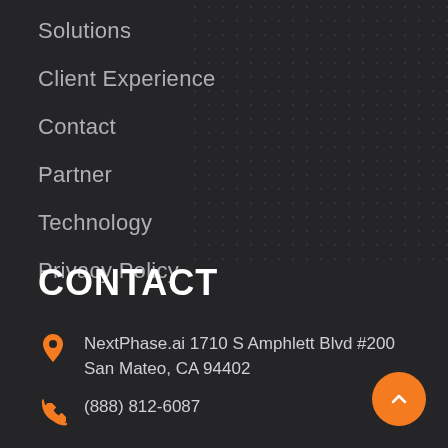Solutions
Client Experience
Contact
Partner
Technology
Privacy Policy
CONTACT
NextPhase.ai 1710 S Amphlett Blvd #200 San Mateo, CA 94402
(888) 812-6087